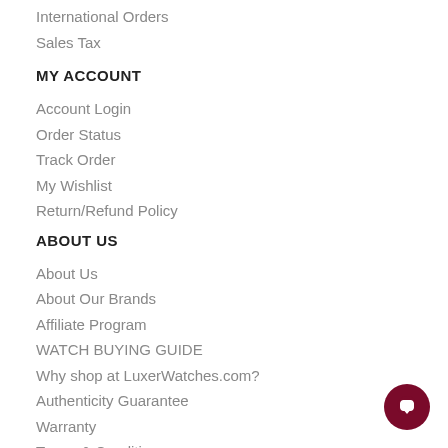International Orders
Sales Tax
MY ACCOUNT
Account Login
Order Status
Track Order
My Wishlist
Return/Refund Policy
ABOUT US
About Us
About Our Brands
Affiliate Program
WATCH BUYING GUIDE
Why shop at LuxerWatches.com?
Authenticity Guarantee
Warranty
Terms & Conditions
[Figure (illustration): Dark red circular chat button in bottom-right corner]